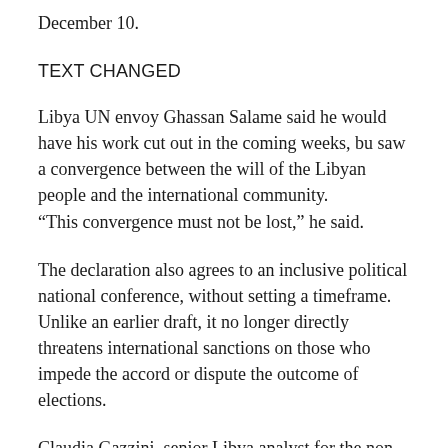December 10.
TEXT CHANGED
Libya UN envoy Ghassan Salame said he would have his work cut out in the coming weeks, bu saw a convergence between the will of the Libyan people and the international community.
“This convergence must not be lost,” he said.
The declaration also agrees to an inclusive political national conference, without setting a timeframe. Unlike an earlier draft, it no longer directly threatens international sanctions on those who impede the accord or dispute the outcome of elections.
Claudia Gazzini, senior Libya analyst for the non-